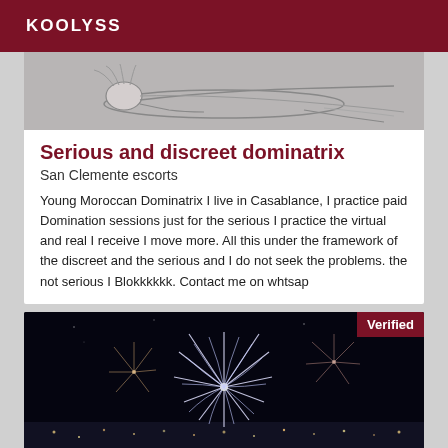KOOLYSS
[Figure (illustration): Sketch illustration of a reclining figure]
Serious and discreet dominatrix
San Clemente escorts
Young Moroccan Dominatrix I live in Casablance, I practice paid Domination sessions just for the serious I practice the virtual and real I receive I move more. All this under the framework of the discreet and the serious and I do not seek the problems. the not serious I Blokkkkkk. Contact me on whtsap
[Figure (photo): Night photo of fireworks display over a city with dark sky background, with 'Verified' badge in top right corner]